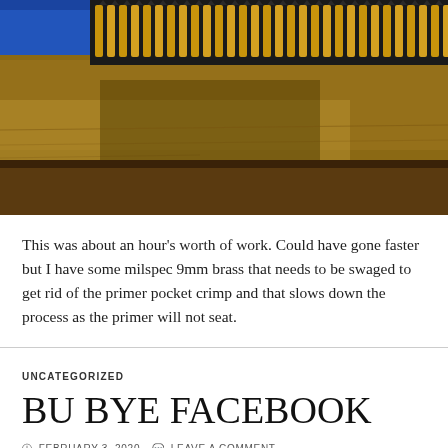[Figure (photo): Photograph of ammunition brass casings lined up in a row on a wooden surface, with a blue container visible in the upper left corner. The casings appear to be 9mm brass arranged in a loading block or tray.]
This was about an hour’s worth of work. Could have gone faster but I have some milspec 9mm brass that needs to be swaged to get rid of the primer pocket crimp and that slows down the process as the primer will not seat.
UNCATEGORIZED
BU BYE FACEBOOK
FEBRUARY 3, 2020   LEAVE A COMMENT